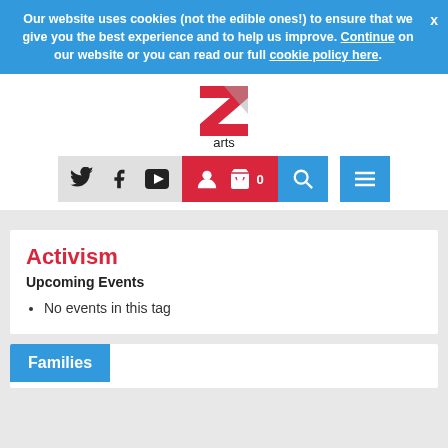Our website uses cookies (not the edible ones!) to ensure that we give you the best experience and to help us improve. Continue on our website or you can read our full cookie policy here.
[Figure (logo): Z arts logo — a red and grey Z letter above the word 'arts' in dark text]
[Figure (screenshot): Navigation bar with social media icons (Twitter, Facebook, YouTube), user/basket icons in red, search icon in blue, and hamburger menu in blue]
Activism
Upcoming Events
No events in this tag
Families